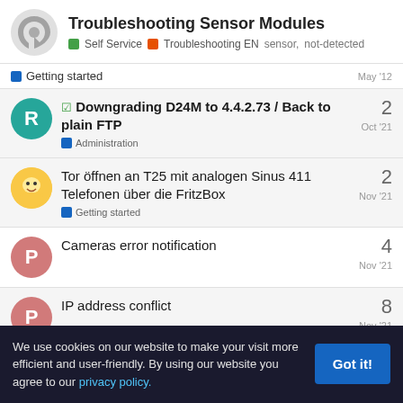Troubleshooting Sensor Modules — Self Service | Troubleshooting EN | sensor, not-detected
Getting started — May '12
Downgrading D24M to 4.4.2.73 / Back to plain FTP — Administration — Oct '21 — 2 replies
Tor öffnen an T25 mit analogen Sinus 411 Telefonen über die FritzBox — Getting started — Nov '21 — 2 replies
Cameras error notification — Nov '21 — 4 replies
IP address conflict — Nov '21 — 8 replies
We use cookies on our website to make your visit more efficient and user-friendly. By using our website you agree to our privacy policy.